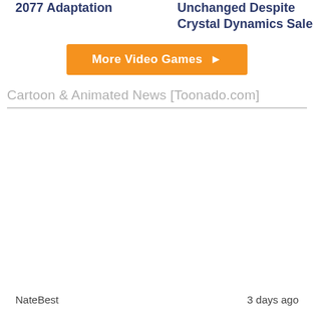2077 Adaptation
Unchanged Despite Crystal Dynamics Sale
More Video Games ▶
Cartoon & Animated News [Toonado.com]
NateBest
3 days ago